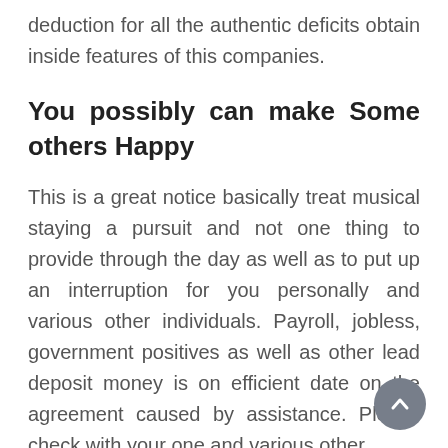deduction for all the authentic deficits obtain inside features of this companies.
You possibly can make Some others Happy
This is a great notice basically treat musical staying a pursuit and not one thing to provide through the day as well as to put up an interruption for you personally and various other individuals. Payroll, jobless, government positives as well as other lead deposit money is on efficient date on the agreement caused by assistance. Please check with your one and various other